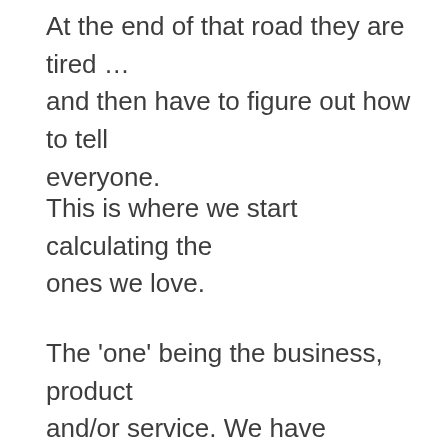At the end of that road they are tired … and then have to figure out how to tell everyone.
This is where we start calculating the ones we love.
The 'one' being the business, product and/or service. We have lovingly crafted everything about it and now we begin calculating how to communicate it.